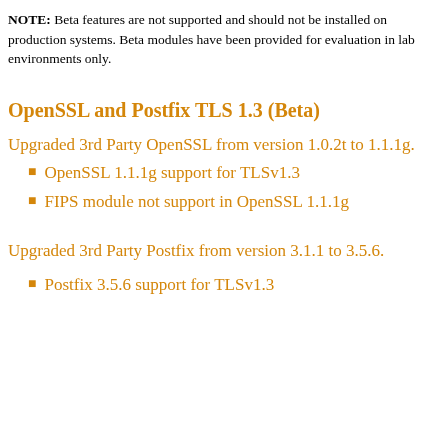NOTE: Beta features are not supported and should not be installed on production systems. Beta modules have been provided for evaluation in lab environments only.
OpenSSL and Postfix TLS 1.3 (Beta)
Upgraded 3rd Party OpenSSL from version 1.0.2t to 1.1.1g.
OpenSSL 1.1.1g support for TLSv1.3
FIPS module not support in OpenSSL 1.1.1g
Upgraded 3rd Party Postfix from version 3.1.1 to 3.5.6.
Postfix 3.5.6 support for TLSv1.3